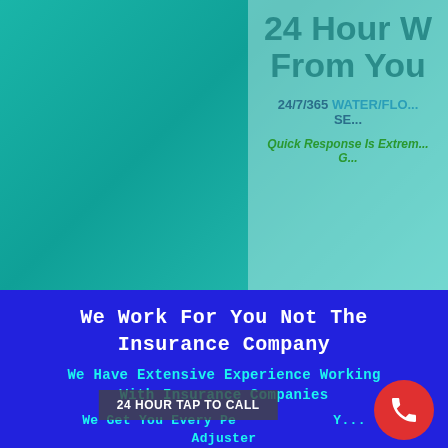[Figure (screenshot): Top teal/green gradient background section with partial right panel showing insurance service content]
24 Hour W...
From You...
24/7/365 WATER/FLO...
SE...
Quick Response Is Extrem...
G...
We Work For You Not The Insurance Company
We Have Extensive Experience Working With Insurance Companies
We Get You Every Pe... Y... Adjuster
24 HOUR TAP TO CALL